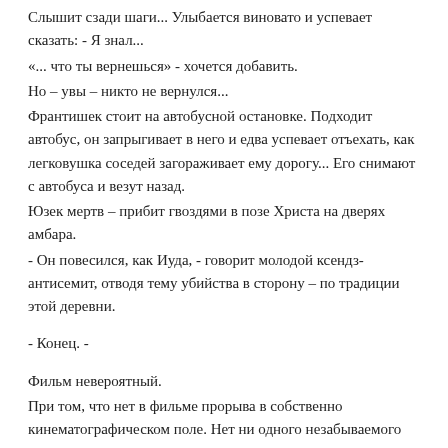Слышит сзади шаги... Улыбается виновато и успевает сказать: - Я знал...
«... что ты вернешься» - хочется добавить.
Но – увы – никто не вернулся...
Франтишек стоит на автобусной остановке. Подходит автобус, он запрыгивает в него и едва успевает отъехать, как легковушка соседей загораживает ему дорогу... Его снимают с автобуса и везут назад.
Юзек мертв – прибит гвоздями в позе Христа на дверях амбара.
- Он повесился, как Иуда, - говорит молодой ксендз-антисемит, отводя тему убийства в сторону – по традиции этой деревни.
- Конец. -
Фильм невероятный.
При том, что нет в фильме прорыва в собственно кинематографическом поле. Нет ни одного незабываемого плана, ни одного новаторского режиссерского решения, ни одной захватывающей операторской точки, откуда открывались бы бескрайние поля и луга. Ни одного ОБРАЗА, в который бы выкристализовалась реальность. Напротив – есть расщепление всех